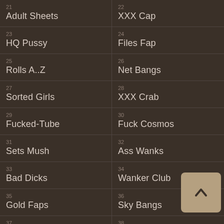21 Adult Sheets
22 XXX Cap
23 HQ Pussy
24 Files Fap
25 Rolls A..Z
26 Net Bangs
27 Sorted Girls
28 XXX Crab
29 Fucked-Tube
30 Fuck Cosmos
31 Sets Mush
32 Ass Wanks
33 Bad Dicks
34 Wanker Club
35 Gold Faps
36 Sky Bangs
37 MPEG Here!
38 Fuck Case